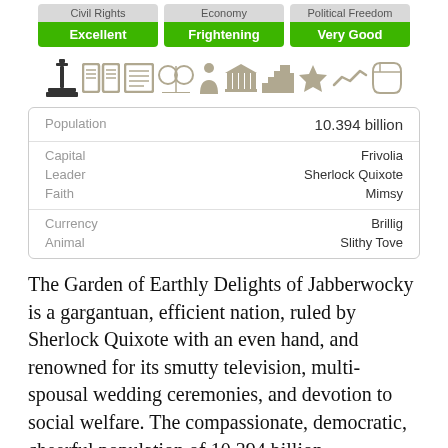[Figure (infographic): Three rating badges: Civil Rights - Excellent (green), Economy - Frightening (green), Political Freedom - Very Good (green)]
[Figure (infographic): Row of icons: monument (dark), newspaper, document, scales, person, building/bank, factory, trophy, line chart, price tag - all in tan/gray color]
|  |  |
| --- | --- |
| Population | 10.394 billion |
| Capital | Frivolia |
| Leader | Sherlock Quixote |
| Faith | Mimsy |
| Currency | Brillig |
| Animal | Slithy Tove |
The Garden of Earthly Delights of Jabberwocky is a gargantuan, efficient nation, ruled by Sherlock Quixote with an even hand, and renowned for its smutty television, multi-spousal wedding ceremonies, and devotion to social welfare. The compassionate, democratic, cheerful population of 10.394 billion Jabberwockyians have some civil rights, but not too many, enjoy the freedom to spend their money however they like to a point, but not in freer, broader situations.